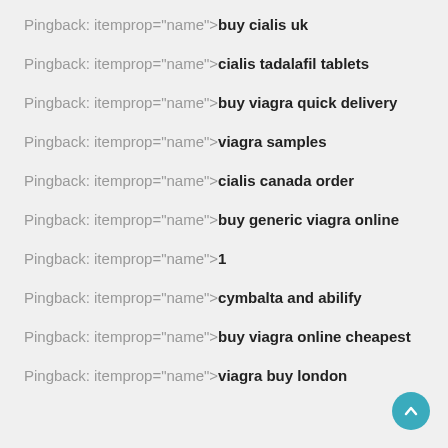Pingback: itemprop="name">buy cialis uk
Pingback: itemprop="name">cialis tadalafil tablets
Pingback: itemprop="name">buy viagra quick delivery
Pingback: itemprop="name">viagra samples
Pingback: itemprop="name">cialis canada order
Pingback: itemprop="name">buy generic viagra online
Pingback: itemprop="name">1
Pingback: itemprop="name">cymbalta and abilify
Pingback: itemprop="name">buy viagra online cheapest
Pingback: itemprop="name">viagra buy london